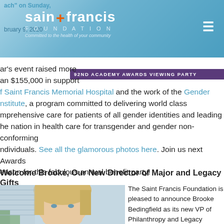Saint Francis Foundation — Committed to the health of your community
92ND ACADEMY AWARDS VIEWING PARTY
ar's event raised more than $155,000 in support of Saint Francis Memorial Hospital and the work of the Gender Institute, a program committed to delivering world class comprehensive care for patients of all gender identities and leading the nation in health care for transgender and gender non-conforming individuals. See all the glamorous photos here. Join us next Awards season for this fabulous annual benefit party!
Welcome Brooke, Our New Director of Major and Legacy Gifts
[Figure (photo): Headshot of a woman with blonde hair]
The Saint Francis Foundation is pleased to announce Brooke Bedingfield as its new VP of Philanthropy and Legacy